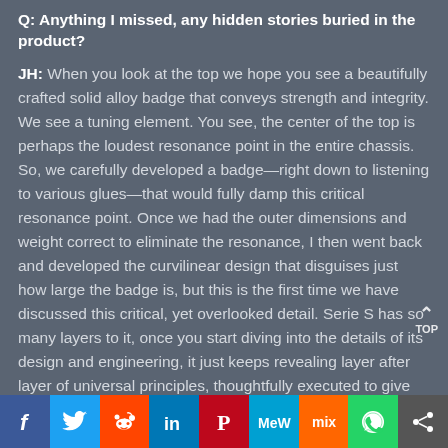Q: Anything I missed, any hidden stories buried in the product?
JH: When you look at the top we hope you see a beautifully crafted solid alloy badge that conveys strength and integrity. We see a tuning element. You see, the center of the top is perhaps the loudest resonance point in the entire chassis. So, we carefully developed a badge—right down to listening to various glues—that would fully damp this critical resonance point. Once we had the outer dimensions and weight correct to eliminate the resonance, I then went back and developed the curvilinear design that disguises just how large the badge is, but this is the first time we have discussed this critical, yet overlooked detail. Serie S has so many layers to it, once you start diving into the details of its design and engineering, it just keeps revealing layer after layer of universal principles, thoughtfully executed to give the
[Figure (infographic): Social sharing bar with buttons for Facebook, Twitter, Reddit, LinkedIn, Pinterest, MeWe, Mix, WhatsApp, and a generic share button]